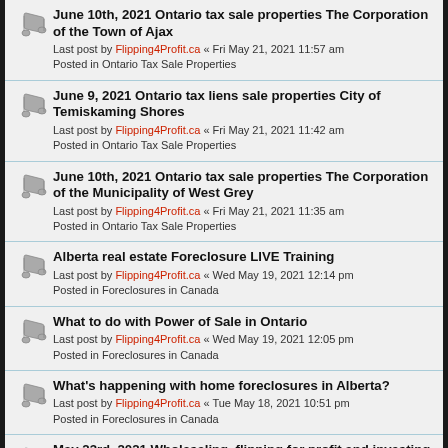June 10th, 2021 Ontario tax sale properties The Corporation of the Town of Ajax
Last post by Flipping4Profit.ca « Fri May 21, 2021 11:57 am
Posted in Ontario Tax Sale Properties
June 9, 2021 Ontario tax liens sale properties City of Temiskaming Shores
Last post by Flipping4Profit.ca « Fri May 21, 2021 11:42 am
Posted in Ontario Tax Sale Properties
June 10th, 2021 Ontario tax sale properties The Corporation of the Municipality of West Grey
Last post by Flipping4Profit.ca « Fri May 21, 2021 11:35 am
Posted in Ontario Tax Sale Properties
Alberta real estate Foreclosure LIVE Training
Last post by Flipping4Profit.ca « Wed May 19, 2021 12:14 pm
Posted in Foreclosures in Canada
What to do with Power of Sale in Ontario
Last post by Flipping4Profit.ca « Wed May 19, 2021 12:05 pm
Posted in Foreclosures in Canada
What's happening with home foreclosures in Alberta?
Last post by Flipping4Profit.ca « Tue May 18, 2021 10:51 pm
Posted in Foreclosures in Canada
May 23rd, 2021 Wholesaling ,flipping for profit and investing in Canadian real estate seminar LIVE online
Last post by Flipping4Profit.ca « Tue May 18, 2021 10:44 pm
Posted in Real Estate Investment LIVE workshops, field training
June 12th, 2021 Canadian Real Estate Investors